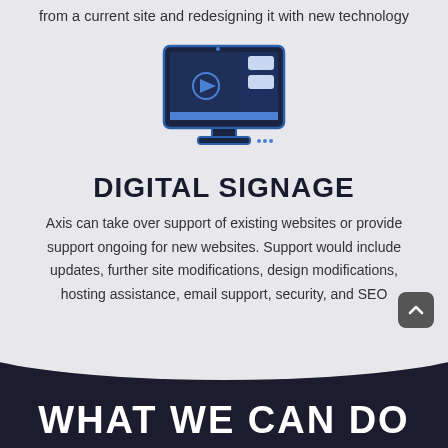from a current site and redesigning it with new technology
[Figure (illustration): Icon of a desktop monitor displaying a video player interface with a play button and panels, rendered in dark navy and blue colors]
DIGITAL SIGNAGE
Axis can take over support of existing websites or provide support ongoing for new websites. Support would include updates, further site modifications, design modifications, hosting assistance, email support, security, and SEO
WHAT WE CAN DO